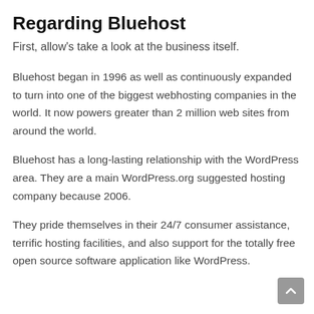Regarding Bluehost
First, allow's take a look at the business itself.
Bluehost began in 1996 as well as continuously expanded to turn into one of the biggest webhosting companies in the world. It now powers greater than 2 million web sites from around the world.
Bluehost has a long-lasting relationship with the WordPress area. They are a main WordPress.org suggested hosting company because 2006.
They pride themselves in their 24/7 consumer assistance, terrific hosting facilities, and also support for the totally free open source software application like WordPress.